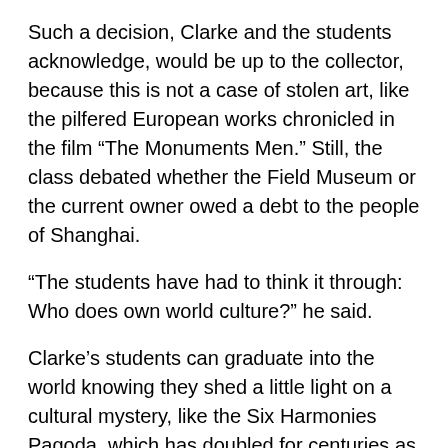Such a decision, Clarke and the students acknowledge, would be up to the collector, because this is not a case of stolen art, like the pilfered European works chronicled in the film “The Monuments Men.” Still, the class debated whether the Field Museum or the current owner owed a debt to the people of Shanghai.
“The students have had to think it through: Who does own world culture?” he said.
Clarke’s students can graduate into the world knowing they shed a little light on a cultural mystery, like the Six Harmonies Pagoda, which has doubled for centuries as a lighthouse.
“These are cool things,” Clarke said of the models. “They shouldn’t be spending all their time in a warehouse.”